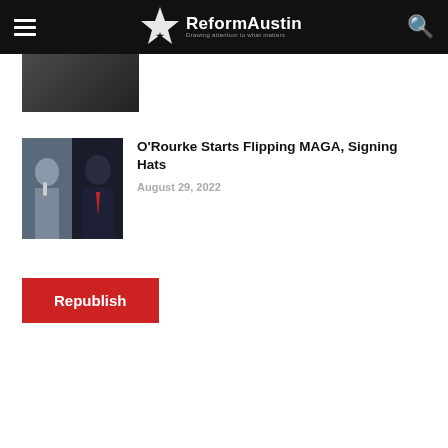ReformAustin — Drawing attention to what matters
[Figure (photo): Partially cropped photo at top of page]
[Figure (photo): Two-person thumbnail: one man speaking into microphone on left, another man in suit with red tie on right (dark background)]
O'Rourke Starts Flipping MAGA, Signing Hats
August 29, 2022
Republish